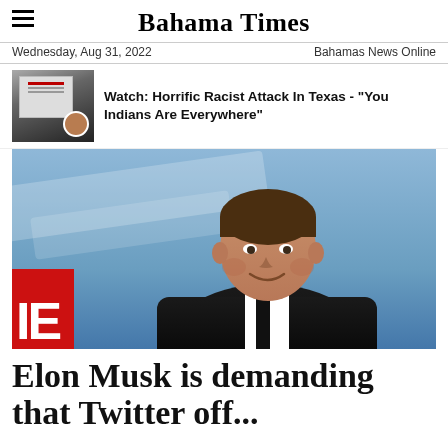Bahama Times
Wednesday, Aug 31, 2022	Bahamas News Online
[Figure (photo): Thumbnail of a document page with a woman's photo]
Watch: Horrific Racist Attack In Texas - "You Indians Are Everywhere"
[Figure (photo): Elon Musk smiling in a black suit and tie, standing in front of a blue background with white geometric shapes and a partial red Tesla/SpaceX logo]
Elon Musk is demanding that Twitter off...